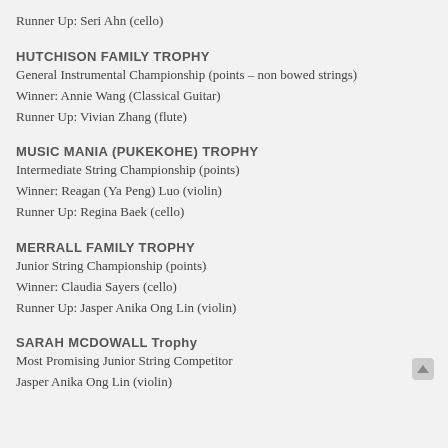Runner Up: Seri Ahn (cello)
HUTCHISON FAMILY TROPHY
General Instrumental Championship (points – non bowed strings)
Winner: Annie Wang (Classical Guitar)
Runner Up: Vivian Zhang (flute)
MUSIC MANIA (PUKEKOHE) TROPHY
Intermediate String Championship (points)
Winner: Reagan (Ya Peng) Luo (violin)
Runner Up: Regina Baek (cello)
MERRALL FAMILY TROPHY
Junior String Championship (points)
Winner: Claudia Sayers (cello)
Runner Up: Jasper Anika Ong Lin (violin)
SARAH MCDOWALL Trophy
Most Promising Junior String Competitor
Jasper Anika Ong Lin (violin)